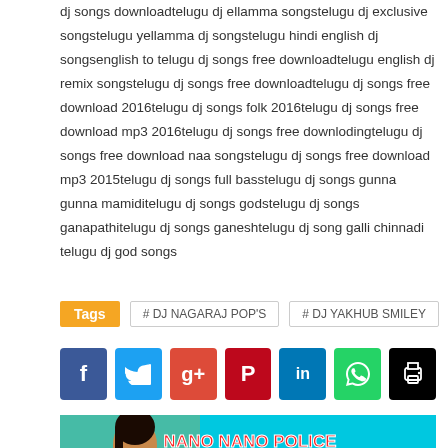dj songs downloadtelugu dj ellamma songstelugu dj exclusive songstelugu yellamma dj songstelugu hindi english dj songsenglish to telugu dj songs free downloadtelugu english dj remix songstelugu dj songs free downloadtelugu dj songs free download 2016telugu dj songs folk 2016telugu dj songs free download mp3 2016telugu dj songs free downlodingtelugu dj songs free download naa songstelugu dj songs free download mp3 2015telugu dj songs full basstelugu dj songs gunna gunna mamiditelugu dj songs godstelugu dj songs ganapathitelugu dj songs ganeshtelugu dj song galli chinnadi telugu dj god songs
Tags: # DJ NAGARAJ POP'S   # DJ YAKHUB SMILEY
[Figure (screenshot): Thumbnail image for 'NENU RANU POLICE AYYO FOLK SONG 2020 DJ MIX' showing a woman in yellow top on cyan background with stylized text 'NANO NANO POLICE AYYO SONG RIMIX']
NENU RANU POLICE AYYO FOLK SONG 2020 DJ MIX - MIX by DJ SRIKANTH SMILEY | www.newdjoffice.in